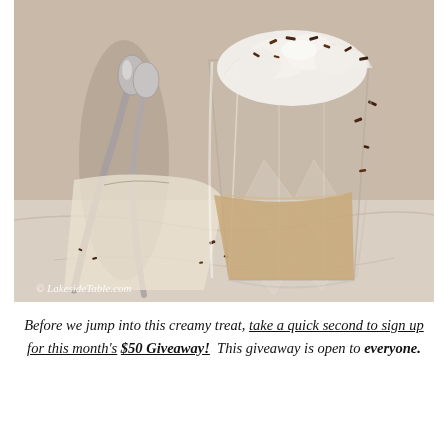[Figure (photo): A glass tumbler filled with a creamy coffee-colored drink and topped with whipped cream and chocolate shavings. Two silver spoons are crossed in the foreground, placed on a marble-like surface. A watermark reads © LakesideTable.com at the bottom left.]
Before we jump into this creamy treat, take a quick second to sign up for this month's $50 Giveaway!  This giveaway is open to everyone.